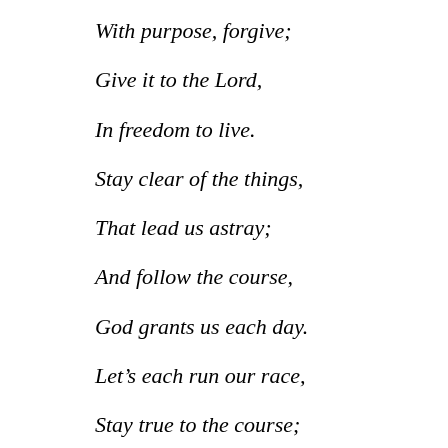With purpose, forgive;
Give it to the Lord,
In freedom to live.
Stay clear of the things,
That lead us astray;
And follow the course,
God grants us each day.
Let’s each run our race,
Stay true to the course;
God’s set before us